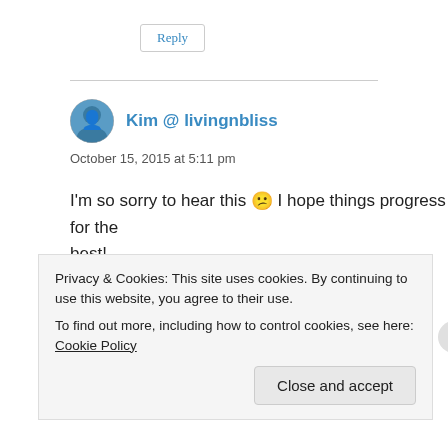Reply
Kim @ livingnbliss
October 15, 2015 at 5:11 pm
I'm so sorry to hear this 😕 I hope things progress for the best!
Privacy & Cookies: This site uses cookies. By continuing to use this website, you agree to their use.
To find out more, including how to control cookies, see here: Cookie Policy
Close and accept